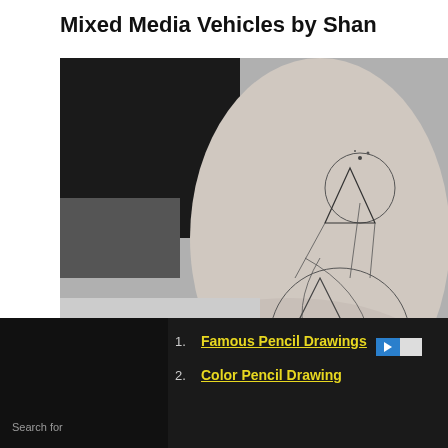Mixed Media Vehicles by Shan
[Figure (photo): Black and white close-up photo of a geometric tattoo on a person's arm, featuring fine-line geometric shapes including circles and triangles.]
Dr. Woo's graceful geometric tattoos
[Figure (photo): Partial color photo showing colorful art with green, teal, and red tones, partially visible at the bottom of the page.]
Search for
1. Famous Pencil Drawings
2. Color Pencil Drawing